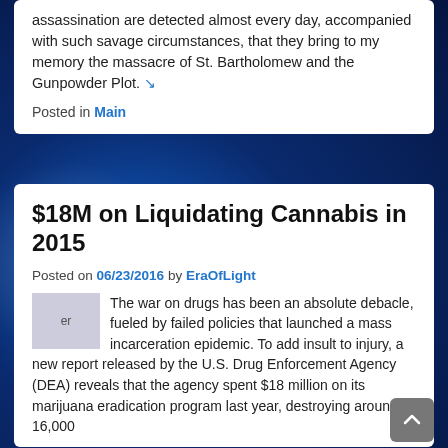assassination are detected almost every day, accompanied with such savage circumstances, that they bring to my memory the massacre of St. Bartholomew and the Gunpowder Plot. ↘
Posted in Main
$18M on Liquidating Cannabis in 2015
Posted on 06/23/2016 by EraOfLight
[Figure (photo): Small image placeholder labeled 'er']
The war on drugs has been an absolute debacle, fueled by failed policies that launched a mass incarceration epidemic. To add insult to injury, a new report released by the U.S. Drug Enforcement Agency (DEA) reveals that the agency spent $18 million on its marijuana eradication program last year, destroying around 16,000